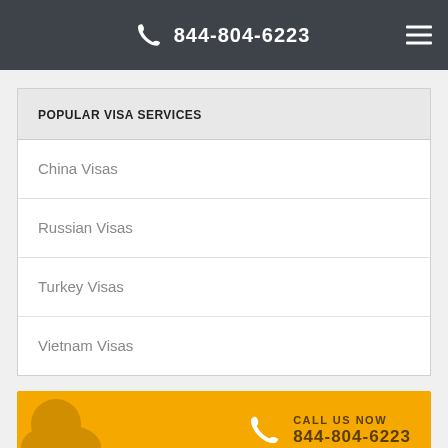844-804-6223
POPULAR VISA SERVICES
China Visas
Russian Visas
Turkey Visas
Vietnam Visas
CALL US NOW 844-804-6223